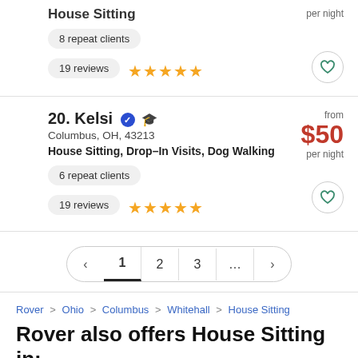House Sitting
per night
8 repeat clients
19 reviews ★★★★★
20. Kelsi — Columbus, OH, 43213 — House Sitting, Drop–In Visits, Dog Walking — from $50 per night
6 repeat clients
19 reviews ★★★★★
Pagination: < 1 2 3 ... >
Rover > Ohio > Columbus > Whitehall > House Sitting
Rover also offers House Sitting in: